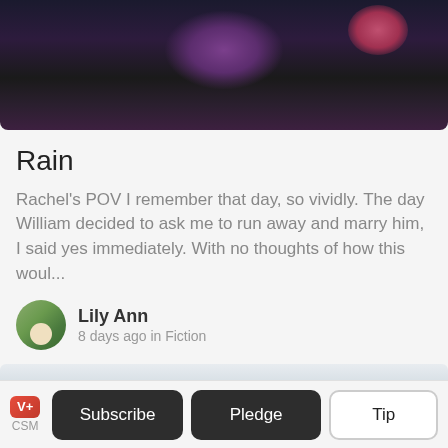[Figure (photo): Dark moody photo of purple and pink flowers against a dark background]
Rain
Rachel's POV I remember that day, so vividly. The day William decided to ask me to run away and marry him, I said yes immediately. With no thoughts of how this woul...
Lily Ann
8 days ago in Fiction
[Figure (photo): Overcast sky with clouds and hazy landscape]
CSM V+  Subscribe  Pledge  Tip